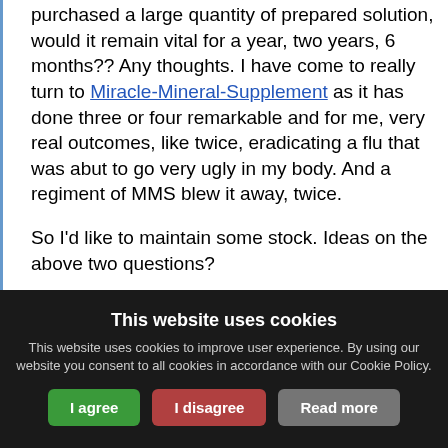purchased a large quantity of prepared solution, would it remain vital for a year, two years, 6 months?? Any thoughts. I have come to really turn to Miracle-Mineral-Supplement as it has done three or four remarkable and for me, very real outcomes, like twice, eradicating a flu that was abut to go very ugly in my body. And a regiment of MMS blew it away, twice.
So I'd like to maintain some stock. Ideas on the above two questions?
tx
This website uses cookies
This website uses cookies to improve user experience. By using our website you consent to all cookies in accordance with our Cookie Policy.
I agree | I disagree | Read more